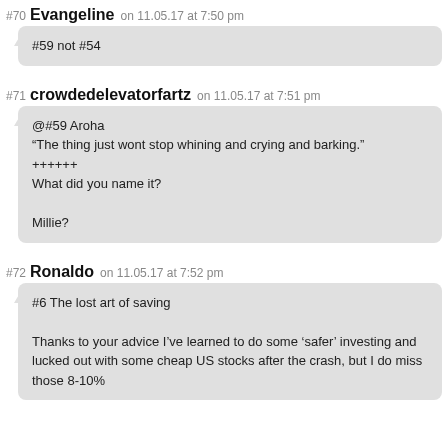#70 Evangeline on 11.05.17 at 7:50 pm
#59 not #54
#71 crowdedelevatorfartz on 11.05.17 at 7:51 pm
@#59 Aroha
“The thing just wont stop whining and crying and barking.”
++++++
What did you name it?

Millie?
#72 Ronaldo on 11.05.17 at 7:52 pm
#6 The lost art of saving

Thanks to your advice I’ve learned to do some ‘safer’ investing and lucked out with some cheap US stocks after the crash, but I do miss those 8-10%